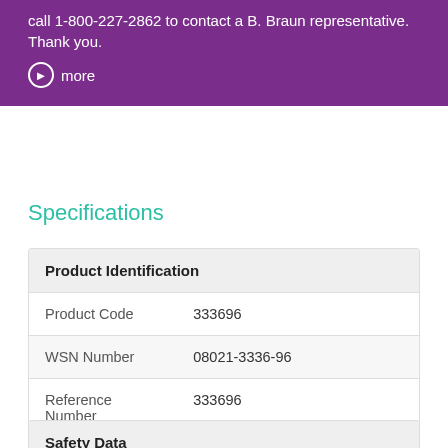call 1-800-227-2862 to contact a B. Braun representative. Thank you.
more
Specifications
| Product Identification |  |
| --- | --- |
| Product Code | 333696 |
| WSN Number | 08021-3336-96 |
| Reference Number | 333696 |
| Safety Data |  |
| --- | --- |